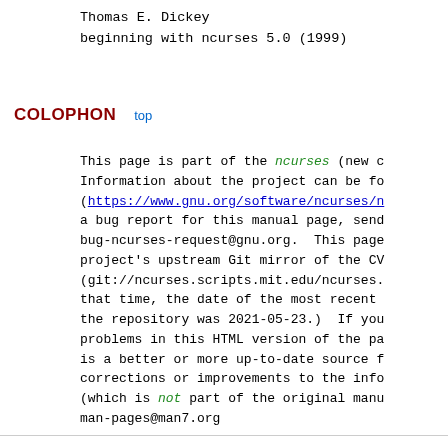Thomas E. Dickey
beginning with ncurses 5.0 (1999)
COLOPHON   top
This page is part of the ncurses (new c Information about the project can be fo (https://www.gnu.org/software/ncurses/n a bug report for this manual page, send bug-ncurses-request@gnu.org.  This page project's upstream Git mirror of the CV (git://ncurses.scripts.mit.edu/ncurses. that time, the date of the most recent the repository was 2021-05-23.)  If you problems in this HTML version of the pa is a better or more up-to-date source f corrections or improvements to the info (which is not part of the original manu man-pages@man7.org